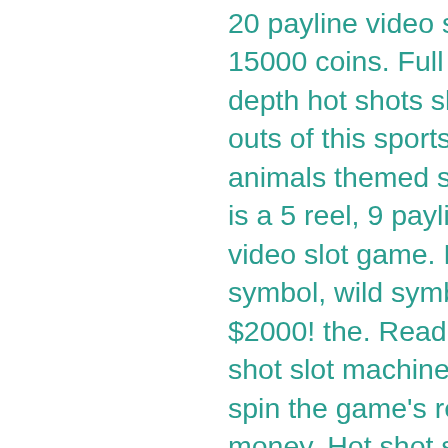20 payline video slot with a maximum jackpot of 15000 coins. Full review of lucky shot here. In-depth hot shots slot review! discover the ins and outs of this sports, cartoons &amp; animations, animals themed slot by isoftbet with a. Hot shot is a 5 reel, 9 payline microgaming developed video slot game. Hot shot includes a scatter symbol, wild symbol and also a jackpot worth $2000! the. Read this detailed review of the hot shot slot machine to learn more before you can spin the game's reels either for free or real money. Hot shot slot review 2022 - read our expert review of micrograming's baseball-themed hot shot slot. Learn about the rtp, bonuses, and free play! Play hot shot slots for real money in australia, get ready to win big with great welcome bonuses &amp; free spins. Tie up your belt and let's. Read